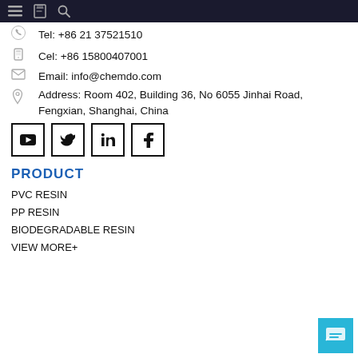Navigation bar with menu, bookmark, and search icons
Tel: +86 21 37521510
Cel: +86 15800407001
Email: info@chemdo.com
Address: Room 402, Building 36, No 6055 Jinhai Road, Fengxian, Shanghai, China
[Figure (other): Social media icon buttons: YouTube, Twitter, LinkedIn, Facebook]
PRODUCT
PVC RESIN
PP RESIN
BIODEGRADABLE RESIN
VIEW MORE+